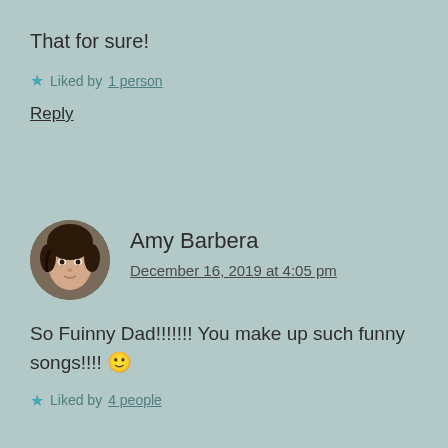That for sure!
★ Liked by 1 person
Reply
Amy Barbera
December 16, 2019 at 4:05 pm
So Fuinny Dad!!!!!!! You make up such funny songs!!!!  🙂
★ Liked by 4 people